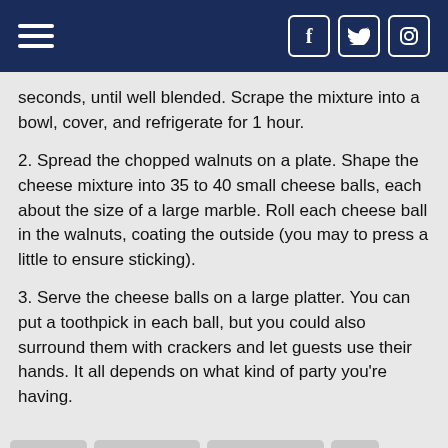Navigation bar with hamburger menu and social icons (Facebook, Twitter, Instagram)
seconds, until well blended. Scrape the mixture into a bowl, cover, and refrigerate for 1 hour.
2. Spread the chopped walnuts on a plate. Shape the cheese mixture into 35 to 40 small cheese balls, each about the size of a large marble. Roll each cheese ball in the walnuts, coating the outside (you may to press a little to ensure sticking).
3. Serve the cheese balls on a large platter. You can put a toothpick in each ball, but you could also surround them with crackers and let guests use their hands. It all depends on what kind of party you’re having.
appetizer  appetizer idea  appetizer recipe  blog  budget  budgeting  chambersburg  diy  family  franklin county
infolinks  shopper  franklin shopper blog  how to blog  recipes
Divanista Hair- 100 % Virgin Human Hair
visit divanistahair.com/ to learn more
www.divanistahair.com